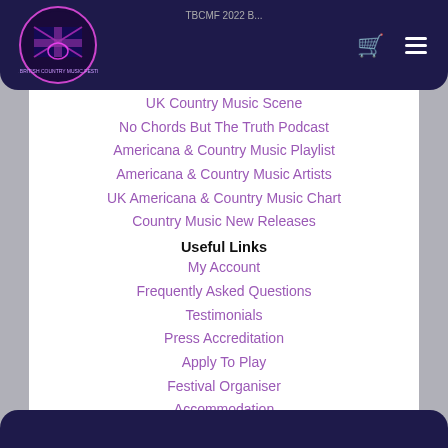[Figure (logo): The British Country Music Festival logo — guitar with UK flag, neon pink/purple glow, circular badge]
TBCMF 2022 B...
UK Country & Americana
UK Country Music Scene
No Chords But The Truth Podcast
Americana & Country Music Playlist
Americana & Country Music Artists
UK Americana & Country Music Chart
Country Music New Releases
Useful Links
My Account
Frequently Asked Questions
Testimonials
Press Accreditation
Apply To Play
Festival Organiser
Accommodation
Motor Homes
Sitemap